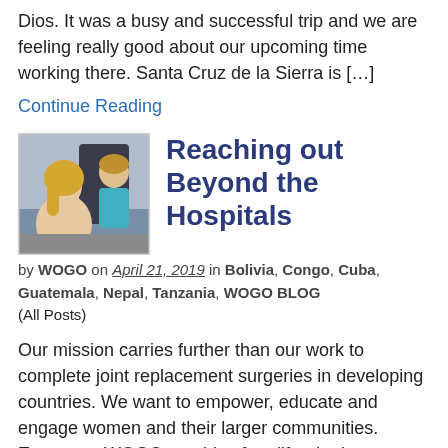Dios. It was a busy and successful trip and we are feeling really good about our upcoming time working there. Santa Cruz de la Sierra is […]
Continue Reading
[Figure (photo): A woman with blonde hair talking to a child in a clinical setting]
Reaching out Beyond the Hospitals
by WOGO on April 21, 2019 in Bolivia, Congo, Cuba, Guatemala, Nepal, Tanzania, WOGO BLOG (All Posts)
Our mission carries further than our work to complete joint replacement surgeries in developing countries. We want to empower, educate and engage women and their larger communities. Empower–WOGO provides free life-altering orthopaedic surgery that eliminates debilitating arthritis and